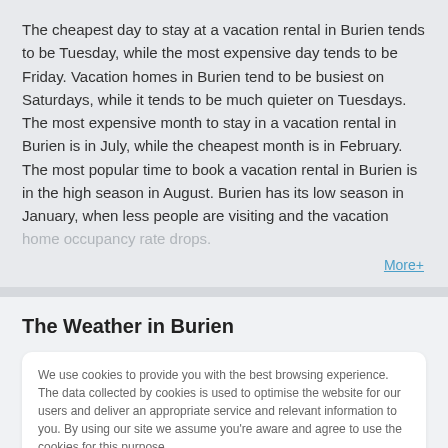The cheapest day to stay at a vacation rental in Burien tends to be Tuesday, while the most expensive day tends to be Friday. Vacation homes in Burien tend to be busiest on Saturdays, while it tends to be much quieter on Tuesdays. The most expensive month to stay in a vacation rental in Burien is in July, while the cheapest month is in February. The most popular time to book a vacation rental in Burien is in the high season in August. Burien has its low season in January, when less people are visiting and the vacation home occupancy rate drops.
More+
The Weather in Burien
We use cookies to provide you with the best browsing experience. The data collected by cookies is used to optimise the website for our users and deliver an appropriate service and relevant information to you. By using our site we assume you're aware and agree to use the cookies for this purpose.